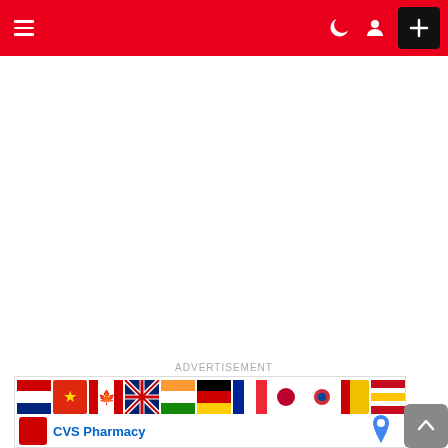Navigation bar with hamburger menu, dark mode, profile, and add button
ADVERTISEMENT
[Figure (screenshot): Advertisement banner showing a row of country flags (Thailand, China, Canada, UK, India, Germany, France, Japan, South Korea, and others including Spain, Netherlands, Turkey) and CVS Pharmacy logo with text below]
[Figure (other): Scroll to top arrow button in gray]